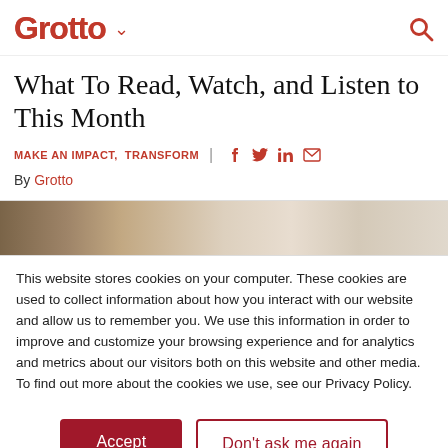Grotto
What To Read, Watch, and Listen to This Month
MAKE AN IMPACT,  TRANSFORM
By Grotto
[Figure (photo): Partial view of a person or books in warm/tan tones, cropped by cookie overlay]
This website stores cookies on your computer. These cookies are used to collect information about how you interact with our website and allow us to remember you. We use this information in order to improve and customize your browsing experience and for analytics and metrics about our visitors both on this website and other media. To find out more about the cookies we use, see our Privacy Policy.
Accept
Don't ask me again